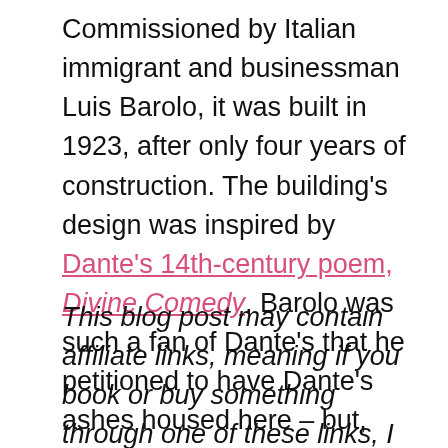Commissioned by Italian immigrant and businessman Luis Barolo, it was built in 1923, after only four years of construction. The building's design was inspired by Dante's 14th-century poem, Divine Comedy. Barolo was such a fan of Dante's that he petitioned to have Dante's ashes housed here – but, alas, they never ended up here.
This blog post may contain affiliate links, meaning if you book or buy something through one of these links, I may earn a small commission (at no extra cost to you)